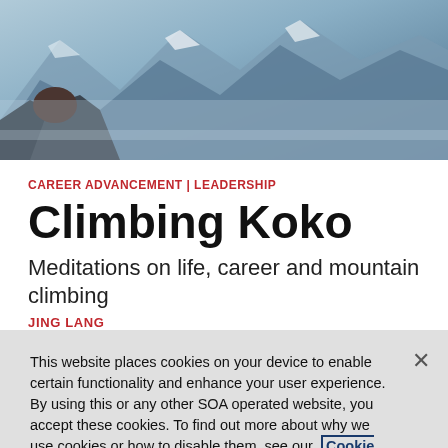[Figure (photo): Aerial view of misty mountain peaks with snow and blue-grey tones]
CAREER ADVANCEMENT | LEADERSHIP
Climbing Koko
Meditations on life, career and mountain climbing
JING LANG
This website places cookies on your device to enable certain functionality and enhance your user experience. By using this or any other SOA operated website, you accept these cookies. To find out more about why we use cookies or how to disable them, see our Cookie Policy.
Accept Cookies